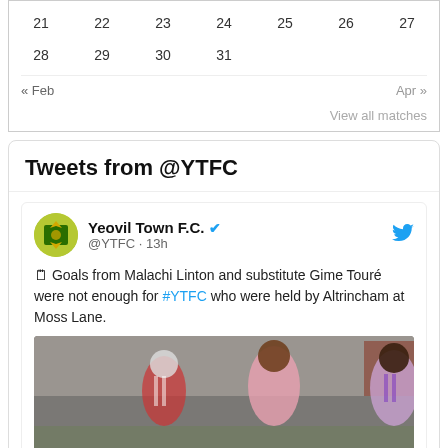| 21 | 22 | 23 | 24 | 25 | 26 | 27 |
| 28 | 29 | 30 | 31 |  |  |  |
« Feb    Apr »
View all matches
Tweets from @YTFC
Yeovil Town F.C. ✔ @YTFC · 13h
🗒 Goals from Malachi Linton and substitute Gime Touré were not enough for #YTFC who were held by Altrincham at Moss Lane.
[Figure (photo): Football match photo showing players in pink/white and red/white striped kits on a pitch]